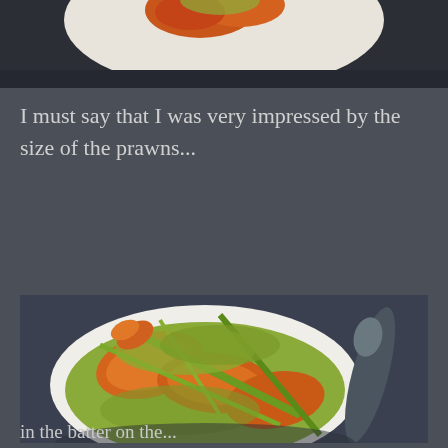[Figure (photo): Cropped top portion of a photo showing food (prawns/seafood) on a plate, partially visible at top of page]
I must say that I was very impressed by the size of the prawns...
[Figure (photo): Photo of large prawns/seafood in a green curry sauce served in a white oval bowl on a dark background, with a spoon visible to the right]
in the batter on the...